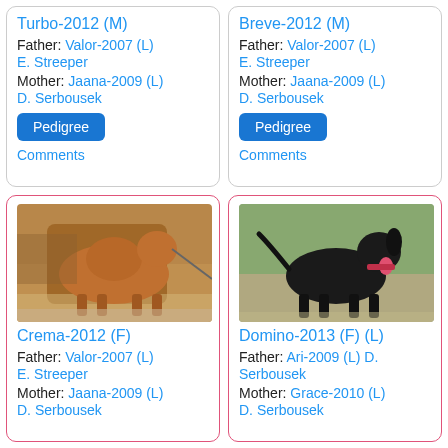Turbo-2012 (M)
Father: Valor-2007 (L)
E. Streeper
Mother: Jaana-2009 (L)
D. Serbousek
Pedigree
Comments
Breve-2012 (M)
Father: Valor-2007 (L)
E. Streeper
Mother: Jaana-2009 (L)
D. Serbousek
Pedigree
Comments
[Figure (photo): Tan/brown dog standing outdoors on dirt/gravel, side profile]
Crema-2012 (F)
Father: Valor-2007 (L)
E. Streeper
Mother: Jaana-2009 (L)
D. Serbousek
[Figure (photo): Black dog standing outdoors, side profile with tongue out]
Domino-2013 (F) (L)
Father: Ari-2009 (L) D. Serbousek
Mother: Grace-2010 (L)
D. Serbousek